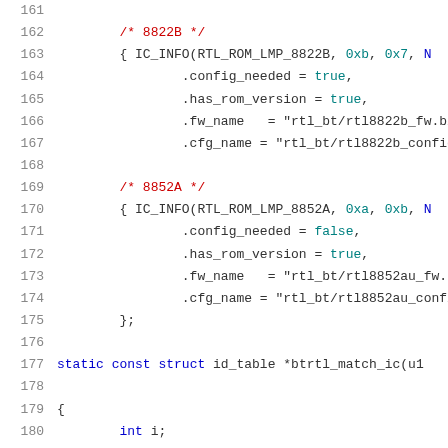Source code listing, lines 161–181, showing RTL Bluetooth IC info table entries for 8822B and 8852A chips, and the start of btrtl_match_ic function.